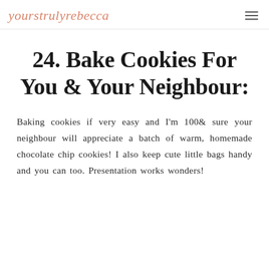yourstrulyrebecca
24. Bake Cookies For You & Your Neighbour:
Baking cookies if very easy and I'm 100& sure your neighbour will appreciate a batch of warm, homemade chocolate chip cookies! I also keep cute little bags handy and you can too. Presentation works wonders!